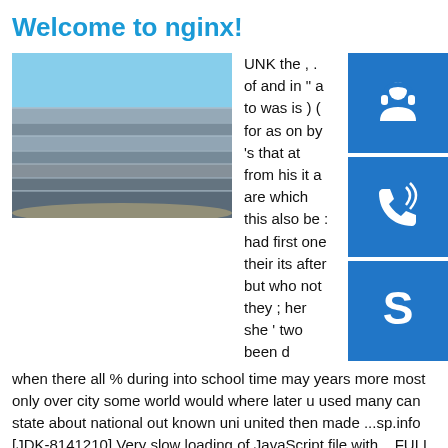Welcome to nginx!
[Figure (photo): Stack of steel metal plates/sheets photographed outdoors]
[Figure (infographic): Three blue icon boxes on right side: headset/support icon, phone call icon, Skype icon]
UNK the , . of and in " a to was is ) ( for as on by 's that at from his it a are which this also be : had first one their its after but who not they ; her she ' two been d when there all % during into school time may years more most only over city some world would where later u used many can state about national out known uni united then made ...sp.info [JDK-8141210] Very slow loading of JavaScript file with ...FULL PRODUCT VERSION : java version "1.8.0_66" Java(TM) SE Runtime Environment (build 1.8.0_66-b17) Java HotSpot(TM) 64-Bit Server VM (build 25.66-b17, mixed mode ...sp.info Expired DNS Hosting Services | DNS Made EasyPlease contact this domain's administrator as their DNS Made Easy services have expired.